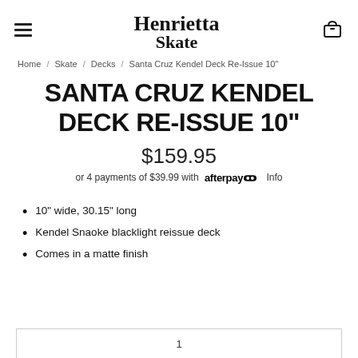Henrietta Skate
Home / Skate / Decks / Santa Cruz Kendel Deck Re-Issue 10"
SANTA CRUZ KENDEL DECK RE-ISSUE 10"
$159.95
or 4 payments of $39.99 with afterpay Info
10" wide, 30.15" long
Kendel Snaoke blacklight reissue deck
Comes in a matte finish
1